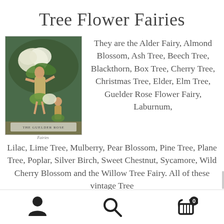Tree Flower Fairies
[Figure (illustration): Vintage illustration of two fairy figures dressed in flower/leaf costumes holding large white flower clusters, labeled 'The Guelder Rose Fairies']
They are the Alder Fairy, Almond Blossom, Ash Tree, Beech Tree, Blackthorn, Box Tree, Cherry Tree, Christmas Tree, Elder, Elm Tree, Guelder Rose Flower Fairy, Laburnum, Lilac, Lime Tree, Mulberry, Pear Blossom, Pine Tree, Plane Tree, Poplar, Silver Birch, Sweet Chestnut, Sycamore, Wild Cherry Blossom and the Willow Tree Fairy. All of these vintage Tree Flower Fairy Prints by Cicely Mary Barker are
user icon | search icon | cart icon (0)